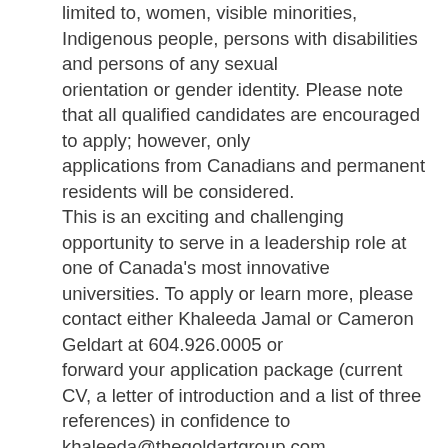limited to, women, visible minorities, Indigenous people, persons with disabilities and persons of any sexual orientation or gender identity. Please note that all qualified candidates are encouraged to apply; however, only applications from Canadians and permanent residents will be considered. This is an exciting and challenging opportunity to serve in a leadership role at one of Canada's most innovative universities. To apply or learn more, please contact either Khaleeda Jamal or Cameron Geldart at 604.926.0005 or forward your application package (current CV, a letter of introduction and a list of three references) in confidence to khaleeda@thegoldartgroup.com